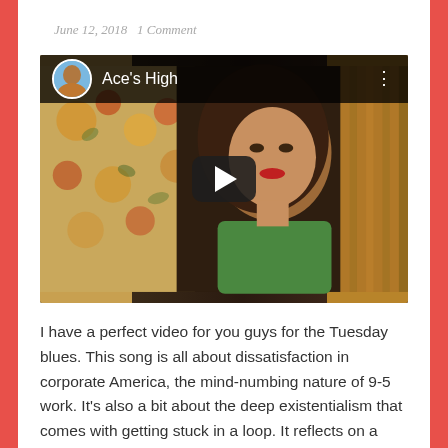June 12, 2018   1 Comment
[Figure (screenshot): YouTube video embed thumbnail showing a woman with long brown hair, red lips, wearing a green top, sitting in front of a floral wallpaper background. The video player shows the channel name 'Ace's High' with a circular avatar in the top bar and a play button in the center.]
I have a perfect video for you guys for the Tuesday blues. This song is all about dissatisfaction in corporate America, the mind-numbing nature of 9-5 work. It's also a bit about the deep existentialism that comes with getting stuck in a loop. It reflects on a tedium that never seems to end and always repeats again every week, slowly draining your